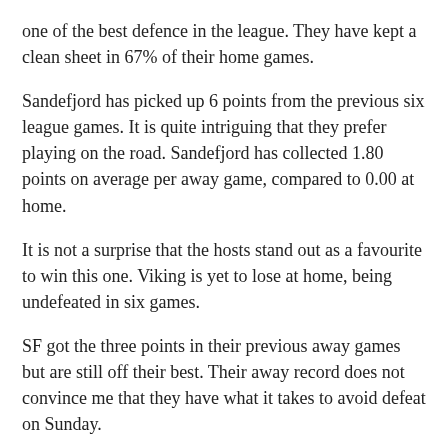one of the best defence in the league. They have kept a clean sheet in 67% of their home games.
Sandefjord has picked up 6 points from the previous six league games. It is quite intriguing that they prefer playing on the road. Sandefjord has collected 1.80 points on average per away game, compared to 0.00 at home.
It is not a surprise that the hosts stand out as a favourite to win this one. Viking is yet to lose at home, being undefeated in six games.
SF got the three points in their previous away games but are still off their best. Their away record does not convince me that they have what it takes to avoid defeat on Sunday.
I am confident that the hosts will prove their worth and triumph with another home victory. Viking wins on average 2.33 points per home game, compared to 1.80 points per away game for Sandefjord. My prediction is Viking to win.
I expect a thrilling contest with plenty of goals. Both sides score and concede on average 2.77 goals per game. Over 2.5 goals were scored in an average of 57% of Viking's home and Sandefjord's